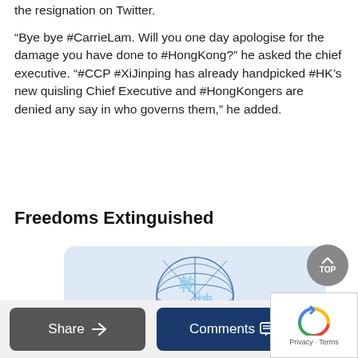the resignation on Twitter.
“Bye bye #CarrieLam. Will you one day apologise for the damage you have done to #HongKong?” he asked the chief executive. “#CCP #XiJinping has already handpicked #HK’s new quisling Chief Executive and #HongKongers are denied any say in who governs them,” he added.
Freedoms Extinguished
[Figure (logo): Gan Jing World logo with globe graphic and orange text reading GAN JING WORLD on light blue rounded rectangle background]
Share
Comments
Privacy · Terms